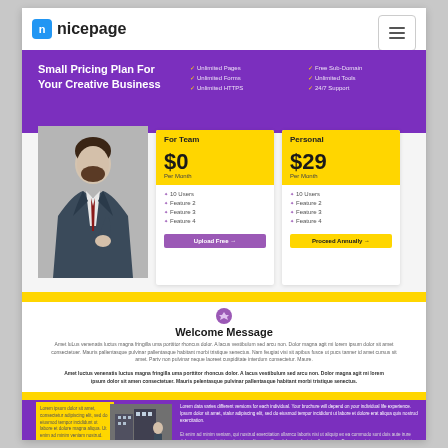nicepage
Small Pricing Plan For Your Creative Business
✓ Unlimited Pages
✓ Unlimited Forms
✓ Unlimited HTTPS
✓ Free Sub-Domain
✓ Unlimited Tools
✓ 24/7 Support
[Figure (photo): Man in business suit, pricing section illustration]
| For Team | Personal |
| --- | --- |
| $0 Per Month | $29 Per Month |
| 10 Users
Feature 2
Feature 3
Feature 4 | 10 Users
Feature 2
Feature 3
Feature 4 |
| Upload Free | Proceed Annually |
Welcome Message
Amet iuLus venenatis luctus magna fringilla uma porttitor rhoncus dolor. A lacus vestibulum sed arcu non. Dolor magna agit mi lorem ipsum dolor sit amen consectetuer. Mauris pellentesque pulvinar pellentesque habitant morbi tristique senectus. Nam feugiat visi sit apibus fusce ut pucs tanner id amet cursus sit amet. Partv non pulvinar neque laoreet cuspiditate interdum consectetur. Maure.
Amet luctus venenatis luctus magna fringilla uma porttitor rhoncus dolor. A lacus vestibulum sed arcu non. Dolor magna agit mi lorem ipsum dolor sit amet consectetuer. Mauris pellentesque pulvinar pellentesque habitant morbi tristique senectus.
Lorem data varies different versions for each individual. Your brochure will depend on your individual life experience. Ipsum dolor sit amet, stalur adipiscing elit, sed do eiusmod tempor incididunt ut labore et dolore erat aliqua quis nostrud exercitation.
Et enim ad minim veniam, qui nostrud exercitation ullamco laboris nisi ut aliquip ex ea commodo sunt duis aute irure dolor in reprehenderit in voluptate velit esse cillum dolore eu fugiat nulla pariatur. Excepteur sint es saecat cuspidatat non proident, sunt in culpa qui officia ullam mollit anim id est laborum. Ut.